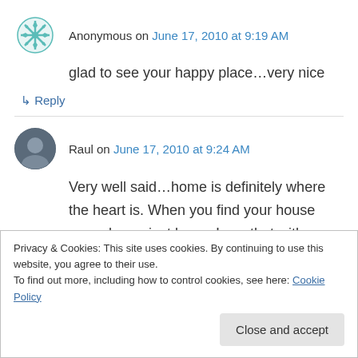Anonymous on June 17, 2010 at 9:19 AM
glad to see your happy place…very nice
↳ Reply
Raul on June 17, 2010 at 9:24 AM
Very well said…home is definitely where the heart is. When you find your house your always just know. I say that with anything I purchase…
Privacy & Cookies: This site uses cookies. By continuing to use this website, you agree to their use. To find out more, including how to control cookies, see here: Cookie Policy
Close and accept